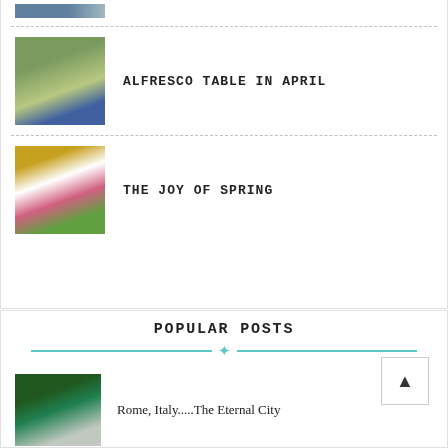[Figure (photo): Partial image at top, appears to be a house or building exterior]
[Figure (photo): Outdoor table setting with blue glasses and flowers, alfresco dining]
ALFRESCO TABLE IN APRIL
[Figure (photo): Floral arrangement with sunflowers and mixed flowers in pink and yellow]
THE JOY OF SPRING
POPULAR POSTS
[Figure (photo): Rome Italy street sign with green signage]
Rome, Italy.....The Eternal City